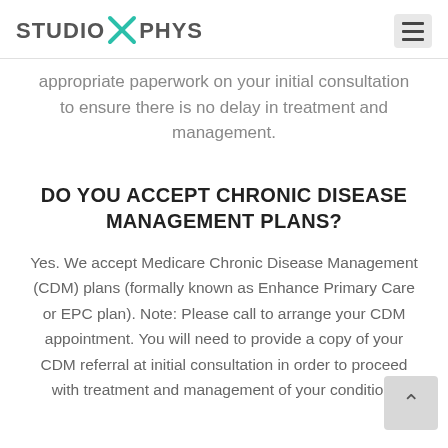STUDIO X PHYS
appropriate paperwork on your initial consultation to ensure there is no delay in treatment and management.
DO YOU ACCEPT CHRONIC DISEASE MANAGEMENT PLANS?
Yes. We accept Medicare Chronic Disease Management (CDM) plans (formally known as Enhance Primary Care or EPC plan). Note: Please call to arrange your CDM appointment. You will need to provide a copy of your CDM referral at initial consultation in order to proceed with treatment and management of your condition.